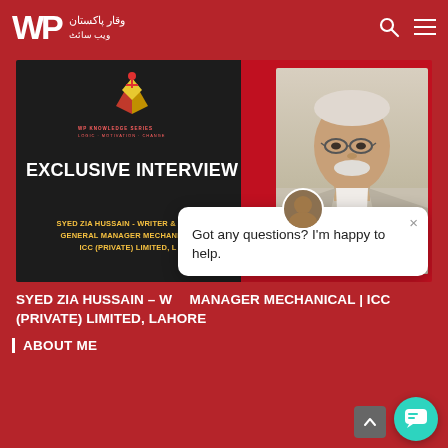WP وقار پاکستان
[Figure (photo): Exclusive Interview banner image showing a Pakistani man in a suit with a book logo. Text reads: EXCLUSIVE INTERVIEW - SYED ZIA HUSSAIN - WRITER & POET GENERAL MANAGER MECHANICAL ICC (PRIVATE) LIMITED, LAHORE]
SYED ZIA HUSSAIN – WRITER & POET | GENERAL MANAGER MECHANICAL | ICC (PRIVATE) LIMITED, LAHORE
ABOUT ME